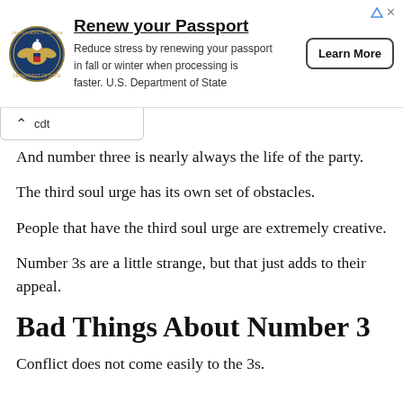[Figure (screenshot): Advertisement banner for Renew your Passport by U.S. Department of State. Shows the US State Department seal, heading 'Renew your Passport', body text 'Reduce stress by renewing your passport in fall or winter when processing is faster. U.S. Department of State', and a 'Learn More' button. Small ad icon and X in top right corner.]
And number three is nearly always the life of the party.
The third soul urge has its own set of obstacles.
People that have the third soul urge are extremely creative.
Number 3s are a little strange, but that just adds to their appeal.
Bad Things About Number 3
Conflict does not come easily to the 3s.